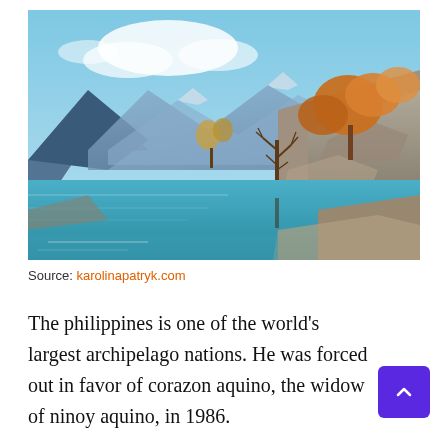[Figure (photo): Landscape photo of a mountain lake scene with calm blue-green water, rocky shoreline, autumn-colored trees on the right (golden/orange foliage), bare branched tree standing in the water, dramatic grey mountain peaks in the background, and a bright blue sky with white clouds.]
Source: karolinapatryk.com
The philippines is one of the world's largest archipelago nations. He was forced out in favor of corazon aquino, the widow of ninoy aquino, in 1986.